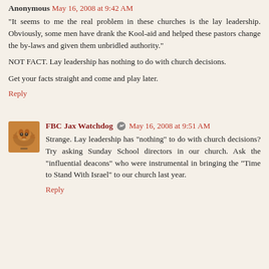Anonymous May 16, 2008 at 9:42 AM
"It seems to me the real problem in these churches is the lay leadership. Obviously, some men have drank the Kool-aid and helped these pastors change the by-laws and given them unbridled authority."
NOT FACT. Lay leadership has nothing to do with church decisions.
Get your facts straight and come and play later.
Reply
FBC Jax Watchdog May 16, 2008 at 9:51 AM
Strange. Lay leadership has "nothing" to do with church decisions? Try asking Sunday School directors in our church. Ask the "influential deacons" who were instrumental in bringing the "Time to Stand With Israel" to our church last year.
Reply